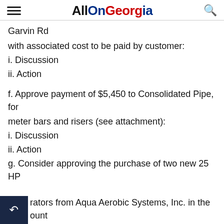AllOnGeorgia
Garvin Rd
with associated cost to be paid by customer:
i. Discussion
ii. Action
f. Approve payment of $5,450 to Consolidated Pipe, for meter bars and risers (see attachment):
i. Discussion
ii. Action
g. Consider approving the purchase of two new 25 HP rators from Aqua Aerobic Systems, Inc. in the ount